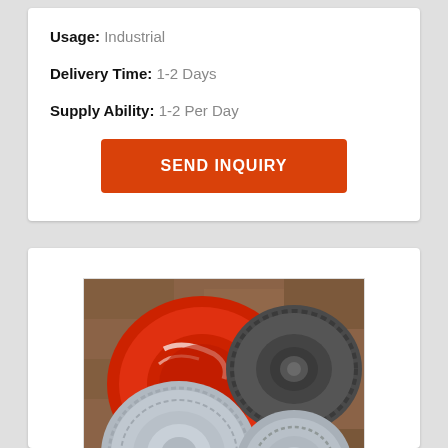Usage: Industrial
Delivery Time: 1-2 Days
Supply Ability: 1-2 Per Day
SEND INQUIRY
[Figure (photo): Overhead view of several round metal/plastic molds or ashtrays on a brick/stone surface. One red ashtray, one dark grey bowl-shaped mold with a center knob, and two silver/aluminum fluted round molds.]